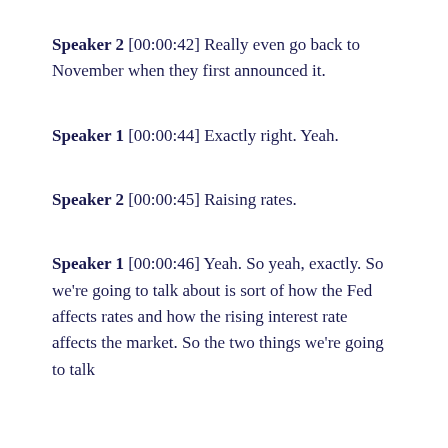Speaker 2 [00:00:42] Really even go back to November when they first announced it.
Speaker 1 [00:00:44] Exactly right. Yeah.
Speaker 2 [00:00:45] Raising rates.
Speaker 1 [00:00:46] Yeah. So yeah, exactly. So we're going to talk about is sort of how the Fed affects rates and how the rising interest rate affects the market. So the two things we're going to talk